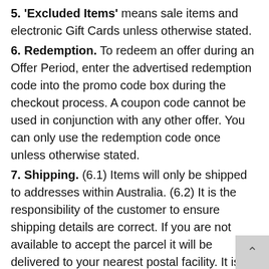5. 'Excluded Items' means sale items and electronic Gift Cards unless otherwise stated.
6. Redemption. To redeem an offer during an Offer Period, enter the advertised redemption code into the promo code box during the checkout process. A coupon code cannot be used in conjunction with any other offer. You can only use the redemption code once unless otherwise stated.
7. Shipping. (6.1) Items will only be shipped to addresses within Australia. (6.2) It is the responsibility of the customer to ensure shipping details are correct. If you are not available to accept the parcel it will be delivered to your nearest postal facility. It is the customers responsibility to arrange collecti within 10 working days. Redelivery of the order